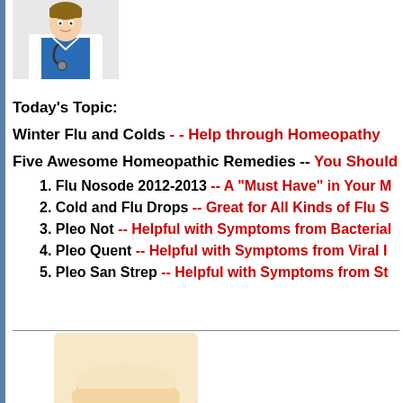[Figure (photo): Doctor in white coat with stethoscope and blue shirt]
Today's Topic:
Winter Flu and Colds -- Help through Homeopathy
Five Awesome Homeopathic Remedies -- You Should Know
1. Flu Nosode 2012-2013 -- A "Must Have" in Your M...
2. Cold and Flu Drops -- Great for All Kinds of Flu S...
3. Pleo Not -- Helpful with Symptoms from Bacterial...
4. Pleo Quent -- Helpful with Symptoms from Viral I...
5. Pleo San Strep -- Helpful with Symptoms from St...
[Figure (photo): Partial image of tablet/capsule at bottom of page]